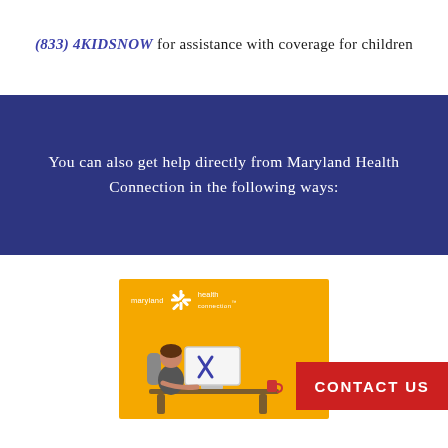(833) 4KIDSNOW for assistance with coverage for children
You can also get help directly from Maryland Health Connection in the following ways:
[Figure (illustration): Yellow background illustration showing a person sitting at a desk using a computer with the Maryland Health Connection logo above, and a red 'CONTACT US' banner in the bottom right corner.]